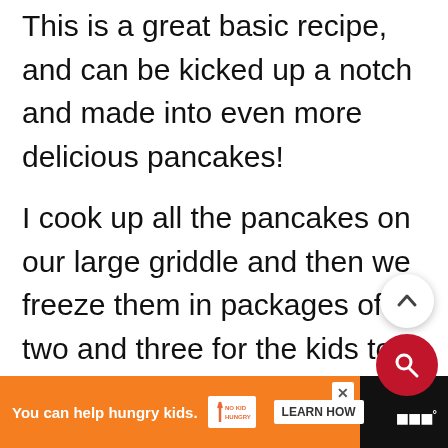This is a great basic recipe, and can be kicked up a notch and made into even more delicious pancakes!
I cook up all the pancakes on our large griddle and then we freeze them in packages of two and three for the kids to reheat throughout the month, or until they run out which is sometimes before I am ready to create another batch.
[Figure (screenshot): Scroll-up button (chevron up) and red search button overlaid on the page]
You can help hungry kids. NO KID HUNGRY LEARN HOW